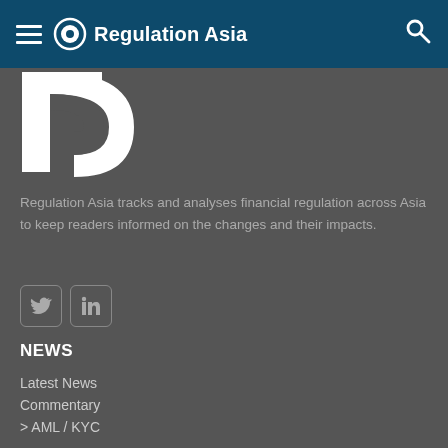Regulation Asia
[Figure (logo): Regulation Asia logo — large white stylized 'r' and 'a' mark on dark grey background]
Regulation Asia tracks and analyses financial regulation across Asia to keep readers informed on the changes and their impacts.
[Figure (other): Social media icons: Twitter and LinkedIn]
NEWS
Latest News
Commentary
> AML / KYC
> Big Picture
> Capital / Liquidity
> Crypto / Digital Assets